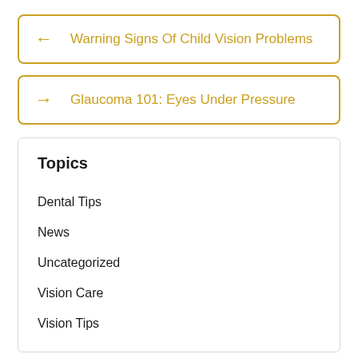← Warning Signs Of Child Vision Problems
→ Glaucoma 101: Eyes Under Pressure
Topics
Dental Tips
News
Uncategorized
Vision Care
Vision Tips